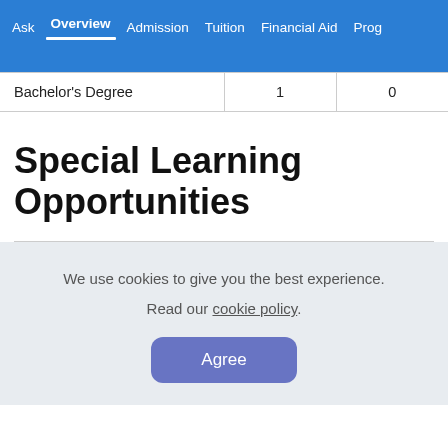Ask  Overview  Admission  Tuition  Financial Aid  Prog
| Bachelor's Degree | 1 | 0 |
Special Learning Opportunities
We use cookies to give you the best experience. Read our cookie policy. Agree